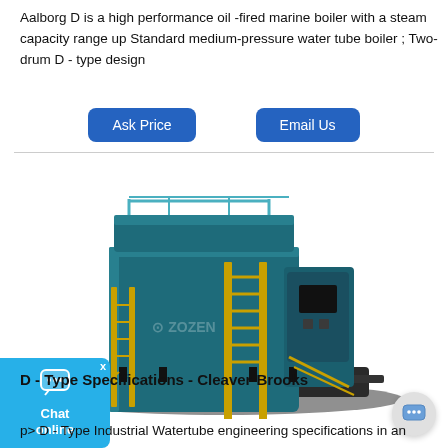Aalborg D is a high performance oil -fired marine boiler with a steam capacity range up Standard medium-pressure water tube boiler ; Two-drum D - type design
Ask Price
Email Us
[Figure (photo): 3D rendering of a large industrial D-type water tube boiler (ZOZEN brand) with teal/dark green casing, yellow access ladders and stairs, mounted on a black platform base, with a control panel on the right side.]
D - Type Specifications - Cleaver-Brooks
p> D - Type Industrial Watertube engineering specifications in an